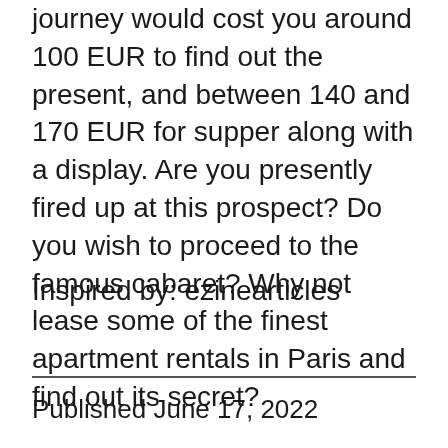journey would cost you around 100 EUR to find out the present, and between 140 and 170 EUR for supper along with a display. Are you presently fired up at this prospect? Do you wish to proceed to the famous cabaret? Why not lease some of the finest apartment rentals in Paris and find out its secret?
Inspired by: ezinearticles
Published June 17, 2022